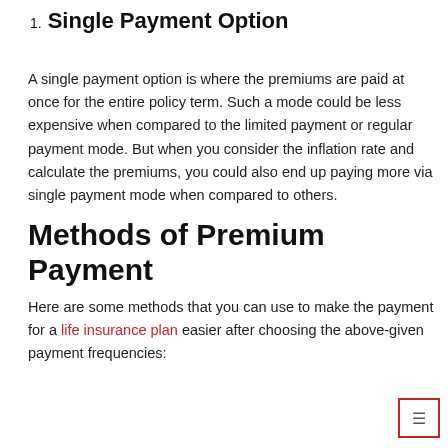1. Single Payment Option
A single payment option is where the premiums are paid at once for the entire policy term. Such a mode could be less expensive when compared to the limited payment or regular payment mode. But when you consider the inflation rate and calculate the premiums, you could also end up paying more via single payment mode when compared to others.
Methods of Premium Payment
Here are some methods that you can use to make the payment for a life insurance plan easier after choosing the above-given payment frequencies: